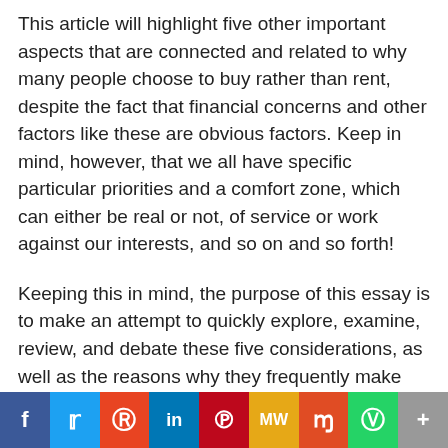This article will highlight five other important aspects that are connected and related to why many people choose to buy rather than rent, despite the fact that financial concerns and other factors like these are obvious factors. Keep in mind, however, that we all have specific particular priorities and a comfort zone, which can either be real or not, of service or work against our interests, and so on and so forth!
Keeping this in mind, the purpose of this essay is to make an attempt to quickly explore, examine, review, and debate these five considerations, as well as the reasons why they frequently make such a significant difference in one's approach and